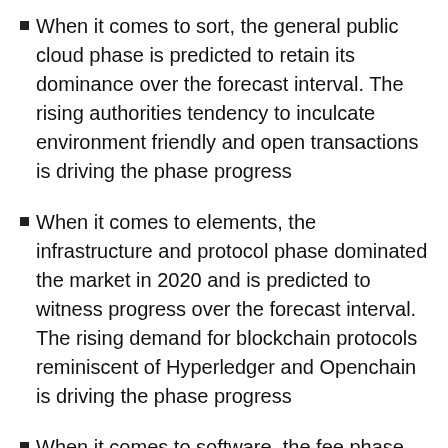When it comes to sort, the general public cloud phase is predicted to retain its dominance over the forecast interval. The rising authorities tendency to inculcate environment friendly and open transactions is driving the phase progress
When it comes to elements, the infrastructure and protocol phase dominated the market in 2020 and is predicted to witness progress over the forecast interval. The rising demand for blockchain protocols reminiscent of Hyperledger and Openchain is driving the phase progress
When it comes to software, the fee phase dominated the market in 2020. The potential of blockchain expertise to offer transparency in transactions is driving the phase progress